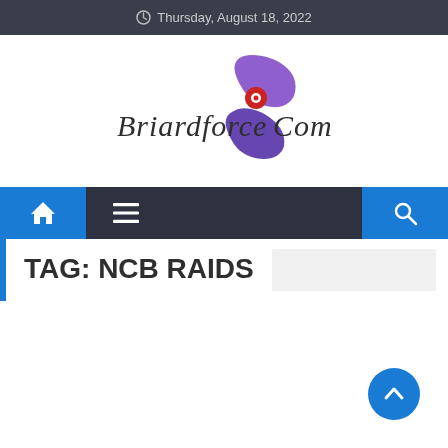Thursday, August 18, 2022
[Figure (logo): BriardforceCom logo with stylized cursive text and purple/blue swoosh hand graphic]
Navigation bar with home, menu, and search icons
TAG: NCB RAIDS